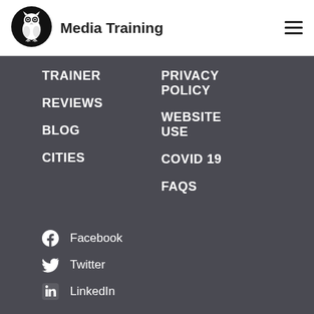[Figure (logo): Owl logo in black circle for Media Training website]
Media Training
TRAINER
REVIEWS
BLOG
CITIES
PRIVACY POLICY
WEBSITE USE
COVID 19
FAQS
Facebook
Twitter
LinkedIn